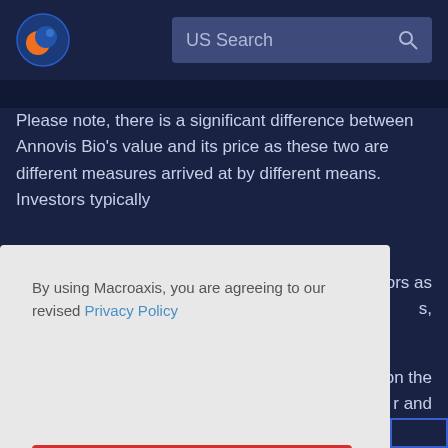[Figure (logo): Macroaxis globe logo — orange and blue spherical icon]
US Search
Please note, there is a significant difference between Annovis Bio's value and its price as these two are different measures arrived at by different means. Investors typically
rs as
s,
By using Macroaxis, you are agreeing to our revised Privacy Policy
OK
on the
r and